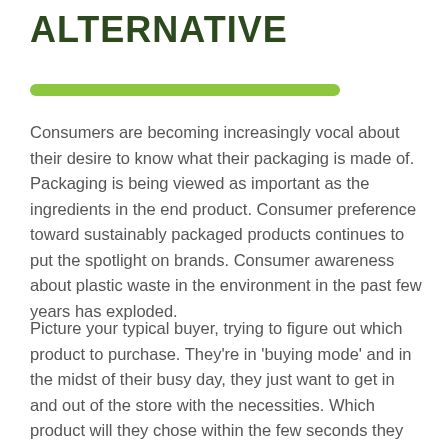ALTERNATIVE
Consumers are becoming increasingly vocal about their desire to know what their packaging is made of. Packaging is being viewed as important as the ingredients in the end product. Consumer preference toward sustainably packaged products continues to put the spotlight on brands. Consumer awareness about plastic waste in the environment in the past few years has exploded.
Picture your typical buyer, trying to figure out which product to purchase. They're in 'buying mode' and in the midst of their busy day, they just want to get in and out of the store with the necessities. Which product will they chose within the few seconds they have to make a